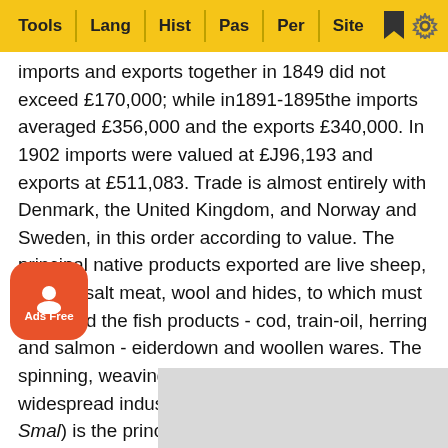Tools | Lang | Hist | Pas | Per | Site
imports and exports together in 1849 did not exceed £170,000; while in1891-1895the imports averaged £356,000 and the exports £340,000. In 1902 imports were valued at £J96,193 and exports at £511,083. Trade is almost entirely with Denmark, the United Kingdom, and Norway and Sweden, in this order according to value. The principal native products exported are live sheep, horses, salt meat, wool and hides, to which must be added the fish products - cod, train-oil, herring and salmon - eiderdown and woollen wares. The spinning, weaving and knitting of wool is a widespread industry, and the native tweed (va Smal) is the principal material for the clothing of the inhabitants. The imports consist principally of cereals and flour, coffee, sugar, ale, wines and spirits, tobacco, manufactured wares, iron and al wares, timber, salt, coal, &c. The money, weights and sures in use are the same as in Denmark. The Islands Bank in Reykiavik (1904) is authorized to issue bank-notes up to